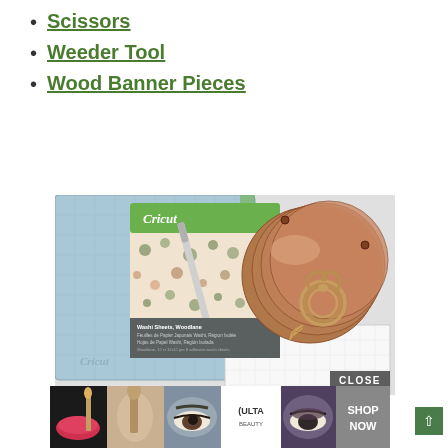Scissors
Weeder Tool
Wood Banner Pieces
[Figure (photo): Cricut cutting mat (blue), Cricut washi sheets package with floral pattern, a weeder/pen tool, and round wood banner pieces tied with twine, arranged on a white grid mat]
[Figure (photo): Ulta Beauty advertisement banner showing makeup looks and a SHOP NOW call to action]